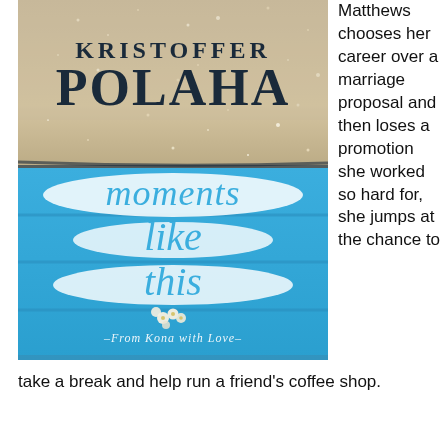[Figure (illustration): Book cover for 'Moments Like This - From Kona with Love' by Kristoffer Polaha. Blue painted wooden boards background with sand/sparkle texture at top. White italic text reads 'moments like this' in the center with small white flowers. Subtitle 'From Kona with Love' in smaller white serif font.]
Matthews chooses her career over a marriage proposal and then loses a promotion she worked so hard for, she jumps at the chance to
take a break and help run a friend’s coffee shop.